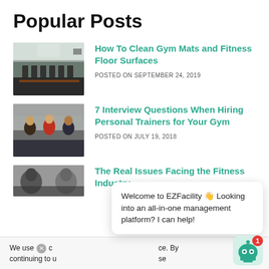Popular Posts
How To Clean Gym Mats and Fitness Floor Surfaces — POSTED ON SEPTEMBER 24, 2019
7 Interview Questions When Hiring Personal Trainers for Your Gym — POSTED ON JULY 19, 2018
The Real Issues Facing the Fitness Industry
We use c... ce. By continuing to u... se
Welcome to EZFacility 👋 Looking into an all-in-one management platform? I can help!